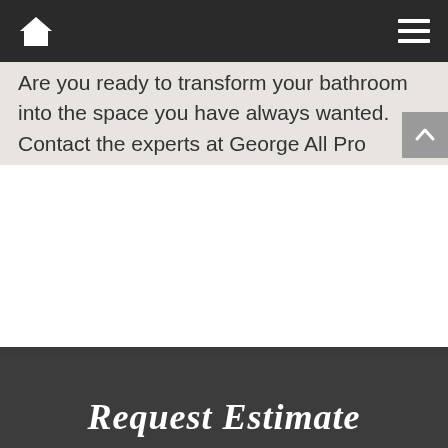Home | Menu
Are you ready to transform your bathroom into the space you have always wanted. Contact the experts at George All Pro Flooring today for more information on your new bathroom tile installation in Salem MA. Contact us by calling 781-521-4469 or request an estimate online today.
Request Estimate